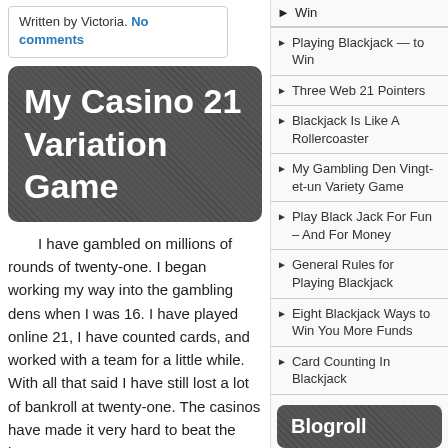Written by Victoria. No comments
My Casino 21 Variation Game
I have gambled on millions of rounds of twenty-one. I began working my way into the gambling dens when I was 16. I have played online 21, I have counted cards, and worked with a team for a little while. With all that said I have still lost a lot of bankroll at twenty-one. The casinos have made it very hard to beat the house.
I still enjoy the game and bet on a regular basis. Over this time period I have enjoyed a type of twenty-one called "The Take it Leave it Method". You most certainly will not get rich with this tactic or beat the casino, still you will have a lot of fun. This method is based on the idea that 21 appears to be
Win
Playing Blackjack — to Win
Three Web 21 Pointers
Blackjack Is Like A Rollercoaster
My Gambling Den Vingt-et-un Variety Game
Play Black Jack For Fun – And For Money
General Rules for Playing Blackjack
Eight Blackjack Ways to Win You More Funds
Card Counting In Blackjack
Blogroll